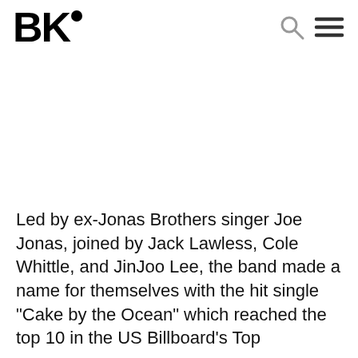BK•
Led by ex-Jonas Brothers singer Joe Jonas, joined by Jack Lawless, Cole Whittle, and JinJoo Lee, the band made a name for themselves with the hit single "Cake by the Ocean" which reached the top 10 in the US Billboard's Top